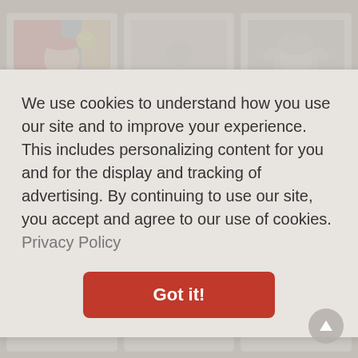[Figure (screenshot): Website screenshot showing three person cards with years 1980 (Martina Hingis), 1627 (Robinson Crusoe), and 1924 (Truman Capote), partially obscured by a cookie consent modal overlay with 'Got it!' button and 'Privacy Policy' link.]
We use cookies to understand how you use our site and to improve your experience. This includes personalizing content for you and for the display and tracking of advertising. By continuing to use our site, you accept and agree to our use of cookies.  Privacy Policy